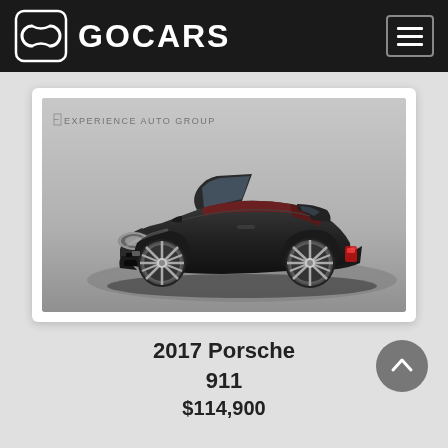GOCARS
[Figure (photo): Black Porsche 911 convertible (cabriolet) with red interior, photographed on a studio turntable. Watermark reads 'EXPERIENCE AUTO GROUP'. The car is dark/black colored, top-down, shot from a 3/4 front angle.]
2017 Porsche 911
$114,900